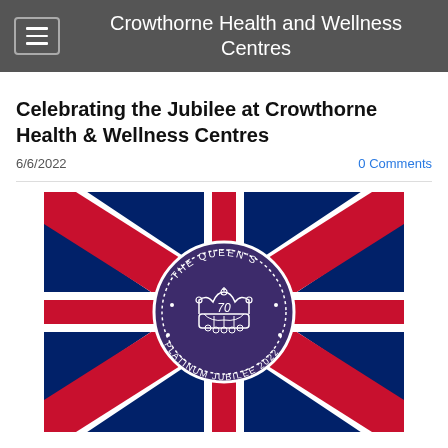Crowthorne Health and Wellness Centres
Celebrating the Jubilee at Crowthorne Health & Wellness Centres
6/6/2022
0 Comments
[Figure (illustration): Union Jack flag with The Queen's Platinum Jubilee 2022 circular emblem in the centre, showing a crown and the number 70]